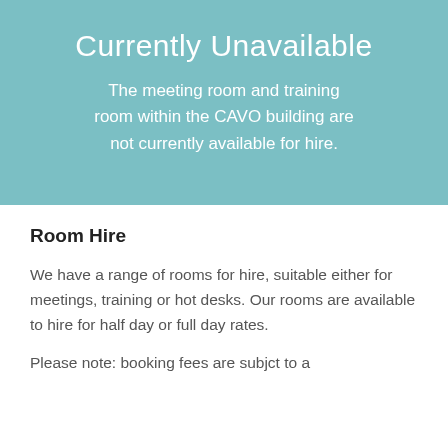Currently Unavailable
The meeting room and training room within the CAVO building are not currently available for hire.
Room Hire
We have a range of rooms for hire, suitable either for meetings, training or hot desks. Our rooms are available to hire for half day or full day rates.
Please note: booking fees are subjct to a